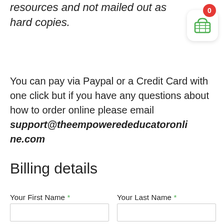resources and not mailed out as hard copies.
[Figure (illustration): Shopping cart icon with red badge showing 0, white rounded rectangle background with green shopping basket icon]
You can pay via Paypal or a Credit Card with one click but if you have any questions about how to order online please email support@theempowerededucatoronline.com
Billing details
Your First Name *
Your Last Name *